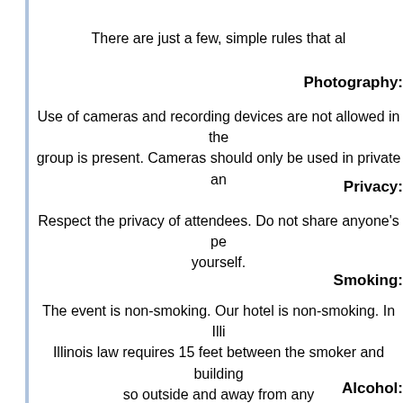There are just a few, simple rules that al
Photography:
Use of cameras and recording devices are not allowed in the group is present. Cameras should only be used in private an
Privacy:
Respect the privacy of attendees. Do not share anyone's pe yourself.
Smoking:
The event is non-smoking. Our hotel is non-smoking. In Illi Illinois law requires 15 feet between the smoker and building so outside and away from any
Alcohol:
The event is BYOB. The hotel has a bar. P
Discretion:
They say discretion is the better part of valor. Be aware at all